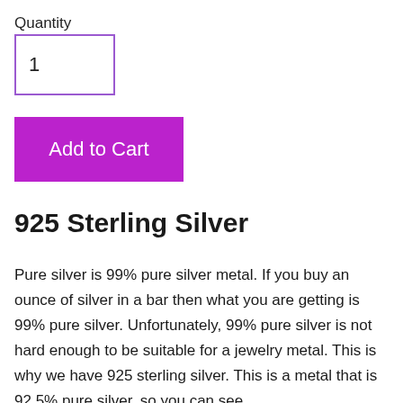Quantity
1
Add to Cart
925 Sterling Silver
Pure silver is 99% pure silver metal. If you buy an ounce of silver in a bar then what you are getting is 99% pure silver. Unfortunately, 99% pure silver is not hard enough to be suitable for a jewelry metal. This is why we have 925 sterling silver. This is a metal that is 92.5% pure silver, so you can see